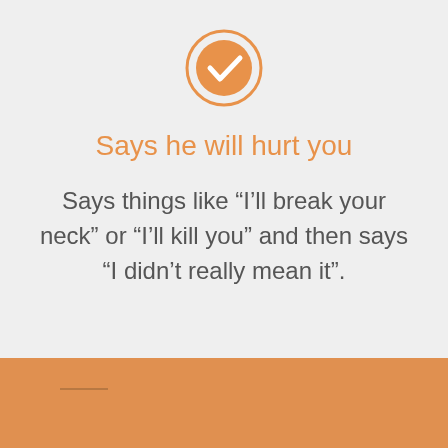[Figure (illustration): Orange circle with white checkmark icon inside an orange ring outline]
Says he will hurt you
Says things like “I’ll break your neck” or “I’ll kill you” and then says “I didn’t really mean it”.